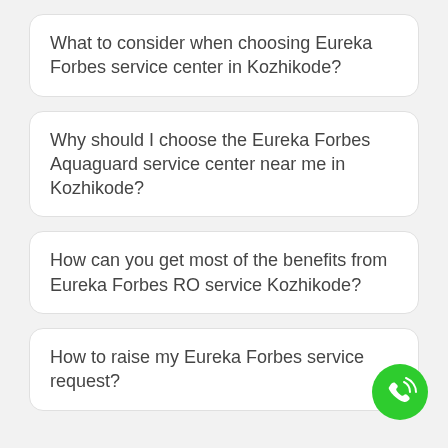What to consider when choosing Eureka Forbes service center in Kozhikode?
Why should I choose the Eureka Forbes Aquaguard service center near me in Kozhikode?
How can you get most of the benefits from Eureka Forbes RO service Kozhikode?
How to raise my Eureka Forbes service request?